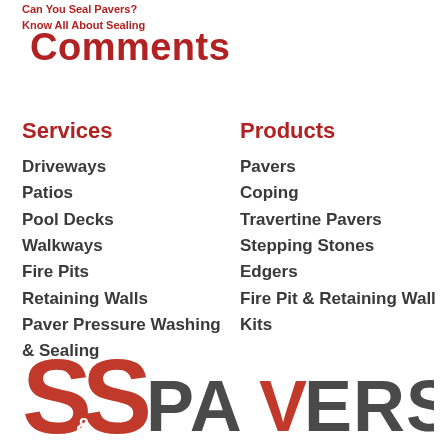Can You Seal Pavers?
Know All About Sealing
Comments
Services
Driveways
Patios
Pool Decks
Walkways
Fire Pits
Retaining Walls
Paver Pressure Washing & Sealing
Products
Pavers
Coping
Travertine Pavers
Stepping Stones
Edgers
Fire Pit & Retaining Wall Kits
[Figure (logo): S&S Pavers logo with large red S&S letters and dark grey PAVERS text]